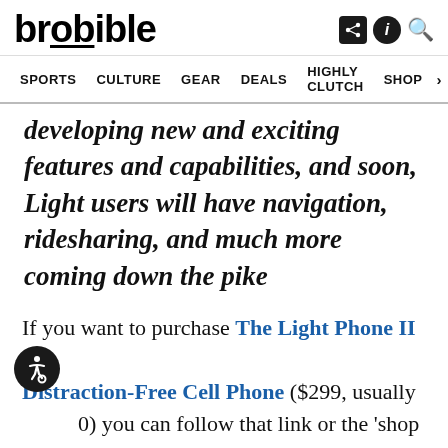brobible — SPORTS | CULTURE | GEAR | DEALS | HIGHLY CLUTCH | SHOP
developing new and exciting features and capabilities, and soon, Light users will have navigation, ridesharing, and much more coming down the pike
If you want to purchase The Light Phone II – Distraction-Free Cell Phone ($299, usually $350) you can follow that link or the 'shop now' button below to head on over to Huckberry where it's $50 off for a limited time. I'm personally thinking this will be an